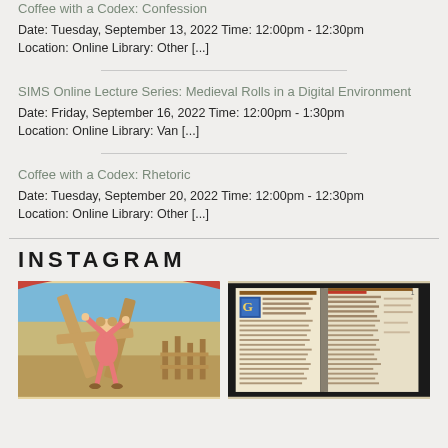Coffee with a Codex: Confession
Date: Tuesday, September 13, 2022 Time: 12:00pm - 12:30pm
Location: Online Library: Other [...]
SIMS Online Lecture Series: Medieval Rolls in a Digital Environment
Date: Friday, September 16, 2022 Time: 12:00pm - 1:30pm
Location: Online Library: Van [...]
Coffee with a Codex: Rhetoric
Date: Tuesday, September 20, 2022 Time: 12:00pm - 12:30pm
Location: Online Library: Other [...]
INSTAGRAM
[Figure (photo): Two Instagram photos side by side: left shows a medieval illustration of a figure in pink carrying wooden beams against a blue and red sky; right shows an open illuminated manuscript with decorated borders and text columns.]